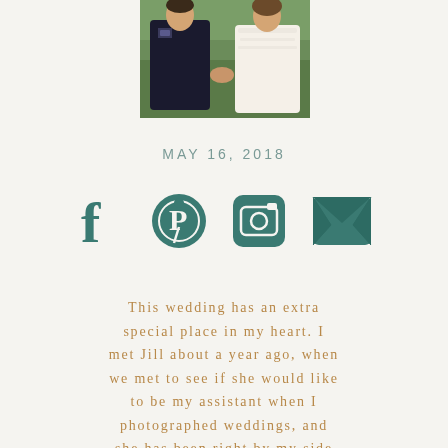[Figure (photo): Wedding photo showing a couple, man in military uniform on left and woman in white lace dress on right, photographed outdoors with green foliage background]
MAY 16, 2018
[Figure (infographic): Social media icons: Facebook (f), Pinterest (circle with P), Instagram (camera), Email (envelope)]
This wedding has an extra special place in my heart. I met Jill about a year ago, when we met to see if she would like to be my assistant when I photographed weddings, and she has been right by my side ever since. When Jill asked me to photograph her wedding, I